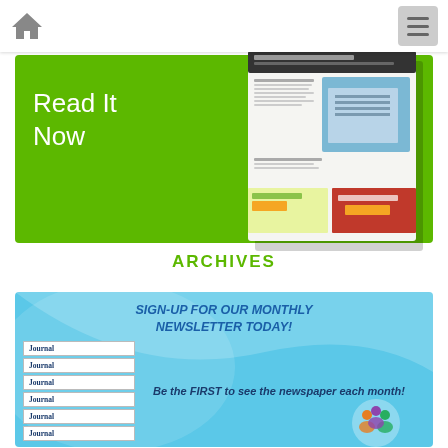[Figure (screenshot): Navigation bar with home icon and hamburger menu button]
[Figure (illustration): Green banner with 'Read It Now' text and newspaper magazine cover image]
ARCHIVES
[Figure (illustration): Light blue newsletter signup banner with text 'SIGN-UP FOR OUR MONTHLY NEWSLETTER TODAY!' and stacked Journal covers, with text 'Be the FIRST to see the newspaper each month!']